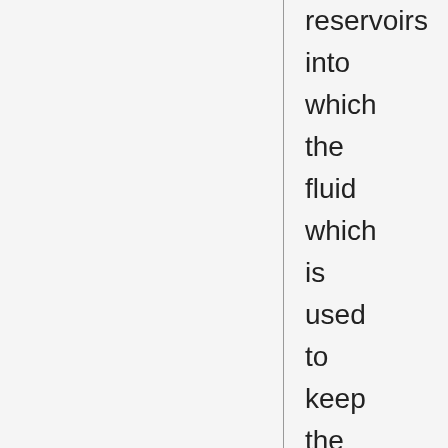reservoirs into which the fluid which is used to keep the proboscis "erect" can withdraw